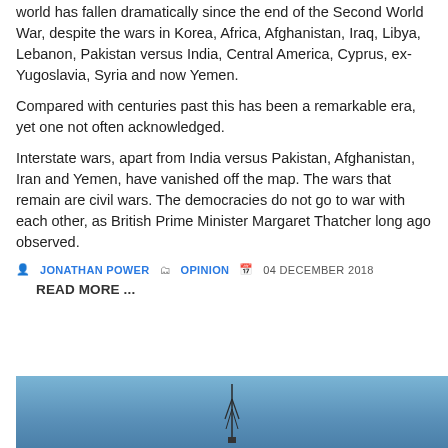world has fallen dramatically since the end of the Second World War, despite the wars in Korea, Africa, Afghanistan, Iraq, Libya, Lebanon, Pakistan versus India, Central America, Cyprus, ex-Yugoslavia, Syria and now Yemen.
Compared with centuries past this has been a remarkable era, yet one not often acknowledged.
Interstate wars, apart from India versus Pakistan, Afghanistan, Iran and Yemen, have vanished off the map. The wars that remain are civil wars. The democracies do not go to war with each other, as British Prime Minister Margaret Thatcher long ago observed.
JONATHAN POWER  OPINION  04 DECEMBER 2018
READ MORE ...
[Figure (photo): Blue sky with antenna/tower silhouette at the bottom of the page]